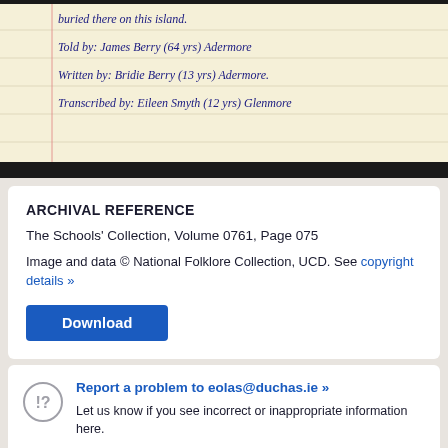[Figure (photo): Photograph of a handwritten notebook page with cursive text in blue ink on lined yellowed paper. Lines read: 'buried there on this island.', 'Told by: James Berry (64 yrs) Adermore', 'Written by: Bridie Berry (13 yrs) Adermore.', 'Transcribed by: Eileen Smyth (12 yrs) Glenmore']
ARCHIVAL REFERENCE
The Schools' Collection, Volume 0761, Page 075
Image and data © National Folklore Collection, UCD. See copyright details »
Download
Report a problem to eolas@duchas.ie »
Let us know if you see incorrect or inappropriate information here.
Notice and Action Policy Statement »